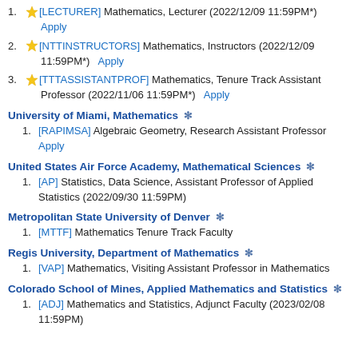1. [LECTURER] Mathematics, Lecturer (2022/12/09 11:59PM*) Apply
2. [NTTINSTRUCTORS] Mathematics, Instructors (2022/12/09 11:59PM*) Apply
3. [TTTASSISTANTPROF] Mathematics, Tenure Track Assistant Professor (2022/11/06 11:59PM*) Apply
University of Miami, Mathematics
1. [RAPIMSA] Algebraic Geometry, Research Assistant Professor Apply
United States Air Force Academy, Mathematical Sciences
1. [AP] Statistics, Data Science, Assistant Professor of Applied Statistics (2022/09/30 11:59PM)
Metropolitan State University of Denver
1. [MTTF] Mathematics Tenure Track Faculty
Regis University, Department of Mathematics
1. [VAP] Mathematics, Visiting Assistant Professor in Mathematics
Colorado School of Mines, Applied Mathematics and Statistics
1. [ADJ] Mathematics and Statistics, Adjunct Faculty (2023/02/08 11:59PM)